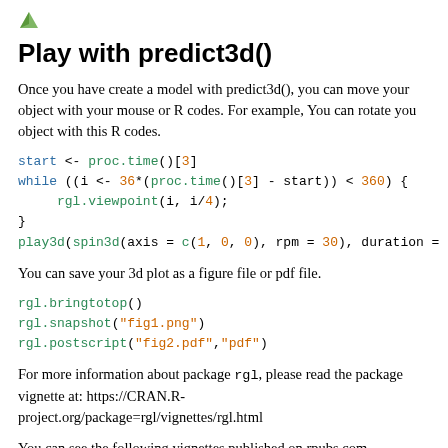[Figure (logo): Small green/teal leaf or document icon in top-left corner]
Play with predict3d()
Once you have create a model with predict3d(), you can move your object with your mouse or R codes. For example, You can rotate you object with this R codes.
start <- proc.time()[3]
while ((i <- 36*(proc.time()[3] - start)) < 360) {
     rgl.viewpoint(i, i/4);
}
play3d(spin3d(axis = c(1, 0, 0), rpm = 30), duration =
You can save your 3d plot as a figure file or pdf file.
rgl.bringtotop()
rgl.snapshot("fig1.png")
rgl.postscript("fig2.pdf","pdf")
For more information about package rgl, please read the package vignette at: https://CRAN.R-project.org/package=rgl/vignettes/rgl.html
You can see the following vignettes published on rpubs.com